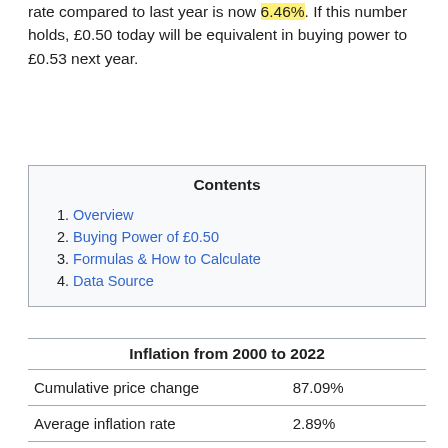rate compared to last year is now 6.46%. If this number holds, £0.50 today will be equivalent in buying power to £0.53 next year.
| Contents |
| --- |
| 1. Overview |
| 2. Buying Power of £0.50 |
| 3. Formulas & How to Calculate |
| 4. Data Source |
Inflation from 2000 to 2022
|  |  |
| --- | --- |
| Cumulative price change | 87.09% |
| Average inflation rate | 2.89% |
| Converted amount (£0.50 base) | £0.94 |
| Price difference (£0.50 base) | £0.44 |